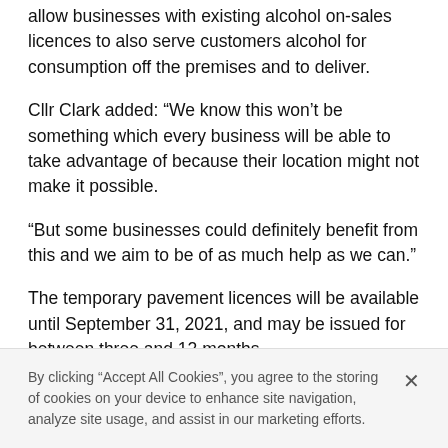allow businesses with existing alcohol on-sales licences to also serve customers alcohol for consumption off the premises and to deliver.
Cllr Clark added: “We know this won’t be something which every business will be able to take advantage of because their location might not make it possible.
“But some businesses could definitely benefit from this and we aim to be of as much help as we can.”
The temporary pavement licences will be available until September 31, 2021, and may be issued for between three and 12 months.
Applications will be subject to feasibility assessments to determine whether what is proposed is suitable and
By clicking “Accept All Cookies”, you agree to the storing of cookies on your device to enhance site navigation, analyze site usage, and assist in our marketing efforts.